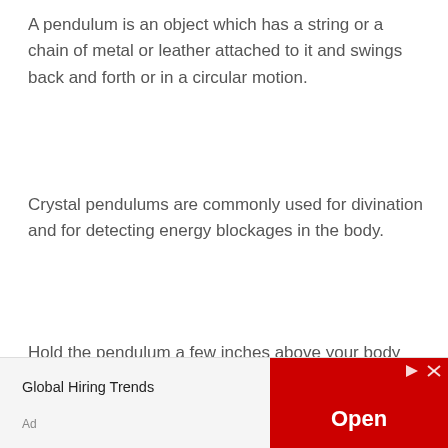A pendulum is an object which has a string or a chain of metal or leather attached to it and swings back and forth or in a circular motion.
Crystal pendulums are commonly used for divination and for detecting energy blockages in the body.
Hold the pendulum a few inches above your body moving it from head to feet to detect any blockages and imbalances in the chakras. Clear quartz crystal is commonly used in pendulums.
#7: Use them as Magic Rock
Magic Rock exercise is a very famous gratitude …
[Figure (other): Advertisement banner: Global Hiring Trends with an Open button on the right in red, ad label at bottom left]